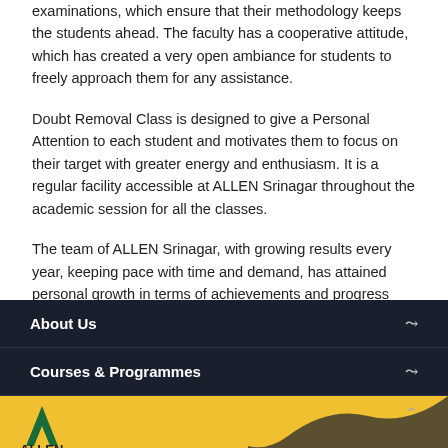examinations, which ensure that their methodology keeps the students ahead. The faculty has a cooperative attitude, which has created a very open ambiance for students to freely approach them for any assistance.
Doubt Removal Class is designed to give a Personal Attention to each student and motivates them to focus on their target with greater energy and enthusiasm. It is a regular facility accessible at ALLEN Srinagar throughout the academic session for all the classes.
The team of ALLEN Srinagar, with growing results every year, keeping pace with time and demand, has attained personal growth in terms of achievements and progress through their dedication and commitment. The tradition of hard work, integrity and devotion developed in the institute has produced admirable results.
About Us
Courses & Programmes
[Figure (logo): ALLEN logo on yellow background with dark wave shape]